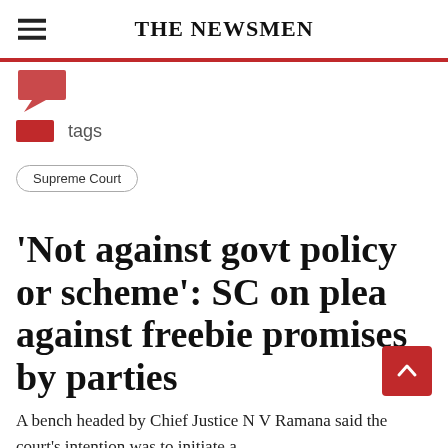THE NEWSMEN
[Figure (illustration): Red speech bubble / chat icon]
tags
Supreme Court
'Not against govt policy or scheme': SC on plea against freebie promises by parties
A bench headed by Chief Justice N V Ramana said the court's intention was to initiate a